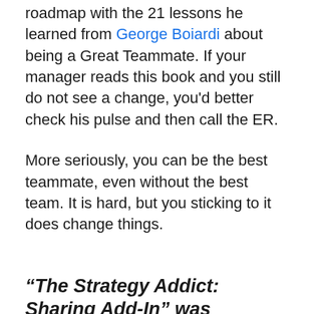roadmap with the 21 lessons he learned from George Boiardi about being a Great Teammate. If your manager reads this book and you still do not see a change, you'd better check his pulse and then call the ER.
More seriously, you can be the best teammate, even without the best team. It is hard, but you sticking to it does change things.
“The Strategy Addict: Sharing Add-In” was